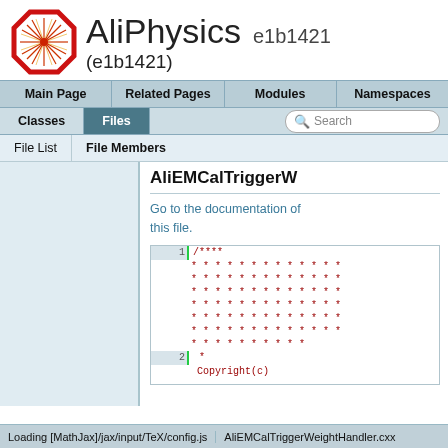[Figure (logo): AliPhysics logo: red octagon with starburst/snowflake pattern inside]
AliPhysics e1b1421 (e1b1421)
Main Page | Related Pages | Modules | Namespaces | Classes | Files | Search
File List | File Members
AliEMCalTriggerW...
Go to the documentation of this file.
1  /****
* * * * * * * * * * * * *
* * * * * * * * * * * * *
* * * * * * * * * * * * *
* * * * * * * * * * * * *
* * * * * * * * * * * * *
* * * * * * * * * *
2  *
   Copyright(c)
Loading [MathJax]/jax/input/TeX/config.js   AliEMCalTriggerWeightHandler.cxx